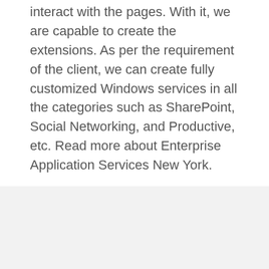interact with the pages. With it, we are capable to create the extensions. As per the requirement of the client, we can create fully customized Windows services in all the categories such as SharePoint, Social Networking, and Productive, etc. Read more about Enterprise Application Services New York.
Our Services